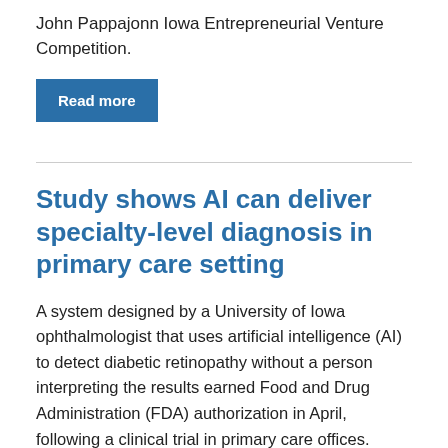John Pappajonn Iowa Entrepreneurial Venture Competition.
Read more
Study shows AI can deliver specialty-level diagnosis in primary care setting
A system designed by a University of Iowa ophthalmologist that uses artificial intelligence (AI) to detect diabetic retinopathy without a person interpreting the results earned Food and Drug Administration (FDA) authorization in April, following a clinical trial in primary care offices. Results of that study were published Aug. 28 online in Nature Digital Medicine, offering the first look at data that